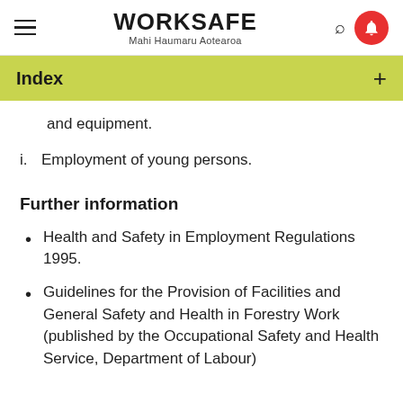WORKSAFE Mahi Haumaru Aotearoa
Index
and equipment.
i. Employment of young persons.
Further information
Health and Safety in Employment Regulations 1995.
Guidelines for the Provision of Facilities and General Safety and Health in Forestry Work (published by the Occupational Safety and Health Service, Department of Labour)